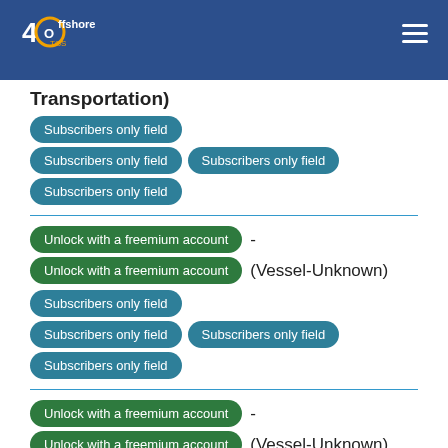40 Offshore (Transportation)
Transportation)
Subscribers only field
Subscribers only field
Subscribers only field
Subscribers only field
Unlock with a freemium account - Unlock with a freemium account (Vessel-Unknown)
Subscribers only field
Subscribers only field
Subscribers only field
Subscribers only field
Unlock with a freemium account - Unlock with a freemium account (Vessel-Unknown)
Subscribers only field